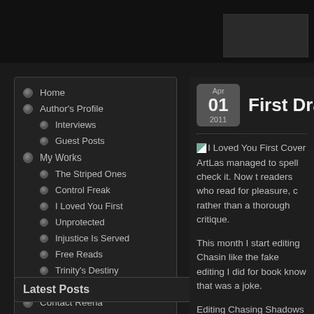Home
Author's Profile
Interviews
Guest Posts
My Works
The Striped Ones
Control Freak
I Loved You First
Unprotected
Injustice Is Served
Free Reads
Trinity's Destiny
Senseless Chatter
Contact Reena
Where Am I?
Latest Posts
First Draft Co
I Loved You First Cover ArtLas managed to spell check it. Now t readers who read for pleasure, c rather than a thorough critique.
This month I start editing Chasin like the fake editing I did for bool know that was a joke.
Editing Chasing Shadows actual to it is big news for me. Hopefully got to get it done, otherwise I wo
My goal is to have the three bo